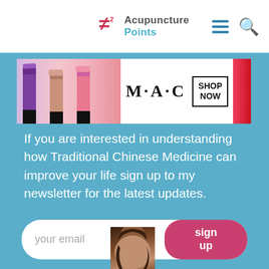[Figure (logo): Acupuncture Points logo with stylized needle icon and teal text]
[Figure (screenshot): MAC cosmetics advertisement banner with lipsticks and SHOP NOW button]
If you are interested in understanding how Traditional Chinese Medicine can improve your life sign up to my newsletter for the latest updates.
[Figure (screenshot): Email signup form with 'your email' placeholder and pink 'sign up' button]
[Figure (screenshot): Victoria's Secret advertisement banner with SHOP THE COLLECTION and SHOP NOW, with CLOSE button]